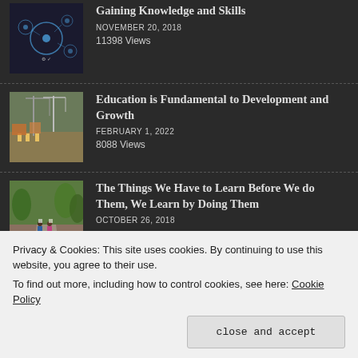[Figure (photo): Dark image with network/tech icons overlay showing circular nodes]
Gaining Knowledge and Skills
NOVEMBER 20, 2018
11398 Views
[Figure (photo): Construction site with cranes and workers in yellow vests]
Education is Fundamental to Development and Growth
FEBRUARY 1, 2022
8088 Views
[Figure (photo): Women carrying items on their heads walking on a rural road]
The Things We Have to Learn Before We do Them, We Learn by Doing Them
OCTOBER 26, 2018
Privacy & Cookies: This site uses cookies. By continuing to use this website, you agree to their use.
To find out more, including how to control cookies, see here: Cookie Policy